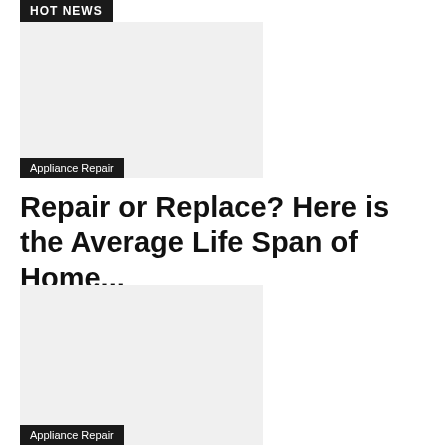HOT NEWS
[Figure (photo): Placeholder image for appliance repair article with Appliance Repair badge]
Appliance Repair
Repair or Replace? Here is the Average Life Span of Home...
[Figure (photo): Second placeholder image for appliance repair article with Appliance Repair badge]
Appliance Repair